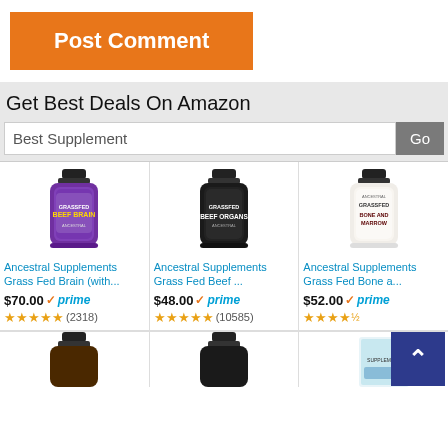[Figure (screenshot): Orange 'Post Comment' button]
Get Best Deals On Amazon
Best Supplement
[Figure (photo): Ancestral Supplements Grass Fed Brain supplement bottle (purple label)]
Ancestral Supplements Grass Fed Brain (with...
$70.00 ✓prime ★★★★★ (2318)
[Figure (photo): Ancestral Supplements Grass Fed Beef Organs supplement bottle (black label)]
Ancestral Supplements Grass Fed Beef ...
$48.00 ✓prime ★★★★★ (10585)
[Figure (photo): Ancestral Supplements Grass Fed Bone and Marrow supplement bottle (white label)]
Ancestral Supplements Grass Fed Bone a...
$52.00 ✓prime ★★★★★
[Figure (photo): Bottom row of supplement bottles partially visible]